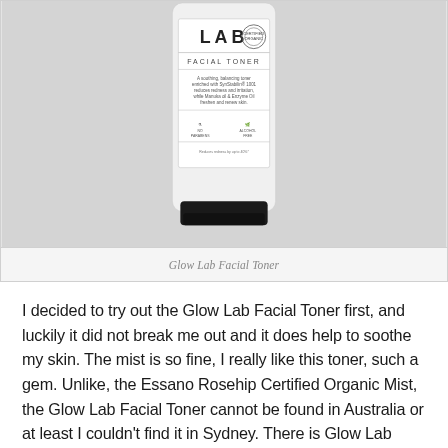[Figure (photo): Photo of a Glow Lab Facial Toner bottle against a grey background. The white bottle shows the label with 'LAB', 'FACIAL TONER' and product description text, with a black cap at the bottom.]
Glow Lab Facial Toner
I decided to try out the Glow Lab Facial Toner first, and luckily it did not break me out and it does help to soothe my skin. The mist is so fine, I really like this toner, such a gem. Unlike, the Essano Rosehip Certified Organic Mist, the Glow Lab Facial Toner cannot be found in Australia or at least I couldn't find it in Sydney. There is Glow Lab product in woolworth but, the toner is not available which mean I cannot get my hands on the Glow Lab Facial